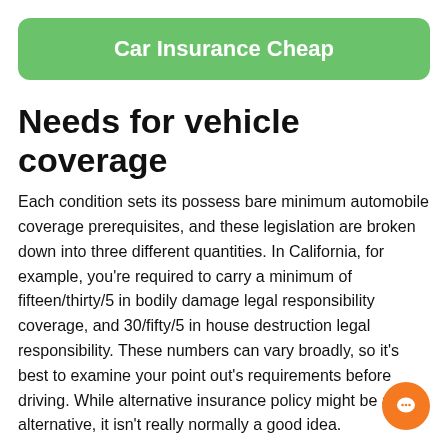Car Insurance Cheap
Needs for vehicle coverage
Each condition sets its possess bare minimum automobile coverage prerequisites, and these legislation are broken down into three different quantities. In California, for example, you're required to carry a minimum of fifteen/thirty/5 in bodily damage legal responsibility coverage, and 30/fifty/5 in house destruction legal responsibility. These numbers can vary broadly, so it's best to examine your point out's requirements before driving. While alternative insurance policy might be an alternative, it isn't really normally a good idea.
The bare minimum protection expected by your point out usually liability protection, but quite a few lenders demand